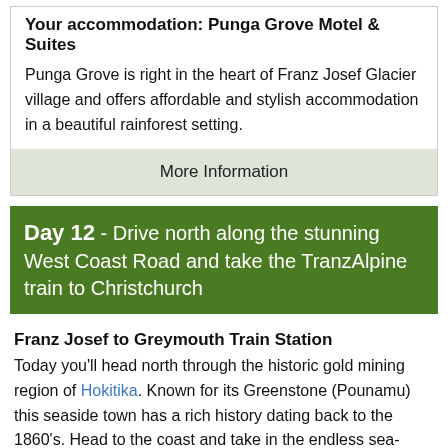Your accommodation: Punga Grove Motel & Suites
Punga Grove is right in the heart of Franz Josef Glacier village and offers affordable and stylish accommodation in a beautiful rainforest setting.
More Information
Day 12 - Drive north along the stunning West Coast Road and take the TranzAlpine train to Christchurch
Franz Josef to Greymouth Train Station
Today you'll head north through the historic gold mining region of Hokitika. Known for its Greenstone (Pounamu) this seaside town has a rich history dating back to the 1860's. Head to the coast and take in the endless sea-views or pick up a souvenir at one of the many craft shops. Continue on to Greymouth, the largest town on the West Coast and the starting point for the next leg of your journey the TranzAlpine Scenic Train. Drop your rental car at the